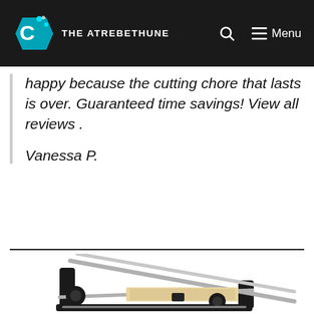THE ATREBETHUNE | Menu
happy because the cutting chore that lasts is over. Guaranteed time savings! View all reviews . Vanessa P.
[Figure (photo): Product photo of a manual food slicer/mandoline with metal rods and black plastic frame, partially visible at the bottom of the page.]